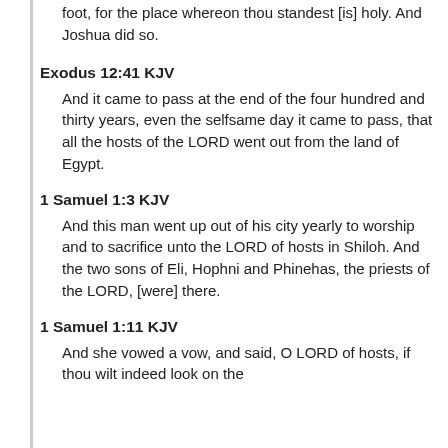foot, for the place whereon thou standest [is] holy. And Joshua did so.
Exodus 12:41 KJV
And it came to pass at the end of the four hundred and thirty years, even the selfsame day it came to pass, that all the hosts of the LORD went out from the land of Egypt.
1 Samuel 1:3 KJV
And this man went up out of his city yearly to worship and to sacrifice unto the LORD of hosts in Shiloh. And the two sons of Eli, Hophni and Phinehas, the priests of the LORD, [were] there.
1 Samuel 1:11 KJV
And she vowed a vow, and said, O LORD of hosts, if thou wilt indeed look on the